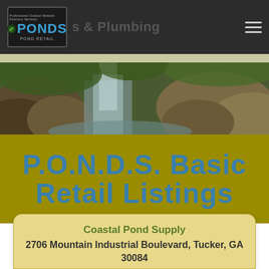PONDS Retail - Ponds & Plumbing
[Figure (photo): Outdoor waterfall/pond scene with rocks and water]
P.O.N.D.S. Basic Retail Listings
Coastal Pond Supply
2706 Mountain Industrial Boulevard, Tucker, GA 30084
( Is this your business? )
[Figure (map): Google Maps partial view showing Sandy Springs, Norcross area near Tucker, GA with highways 285, 85, 29 visible]